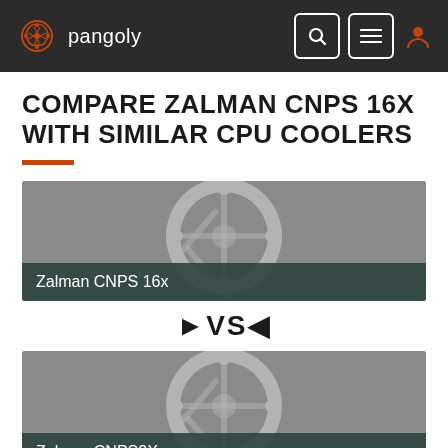pangoly
COMPARE ZALMAN CNPS 16X WITH SIMILAR CPU COOLERS
[Figure (screenshot): Product image placeholder for Zalman CNPS 16x with grey background showing Pangoly logo watermark]
Zalman CNPS 16x
▶VS◀
[Figure (screenshot): Product image placeholder for Zalman CNPS2X with grey background showing Pangoly logo watermark]
Zalman CNPS2X